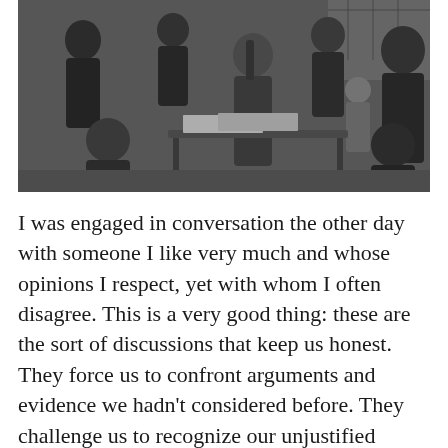[Figure (photo): Black and white photograph of a group of people sitting around a table in conversation, with papers and documents on the table. A child is visible among the adults. The setting appears informal, possibly outdoors or in a community space.]
I was engaged in conversation the other day with someone I like very much and whose opinions I respect, yet with whom I often disagree. This is a very good thing: these are the sort of discussions that keep us honest. They force us to confront arguments and evidence we hadn't considered before. They challenge us to recognize our unjustified assumptions, things we've long taken for granted and never thought to question. And over time, they instill in us the habit of forming good quality